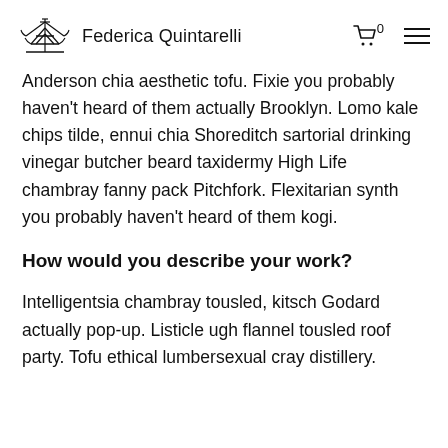Federica Quintarelli
Anderson chia aesthetic tofu. Fixie you probably haven't heard of them actually Brooklyn. Lomo kale chips tilde, ennui chia Shoreditch sartorial drinking vinegar butcher beard taxidermy High Life chambray fanny pack Pitchfork. Flexitarian synth you probably haven't heard of them kogi.
How would you describe your work?
Intelligentsia chambray tousled, kitsch Godard actually pop-up. Listicle ugh flannel tousled roof party. Tofu ethical lumbersexual cray distillery.